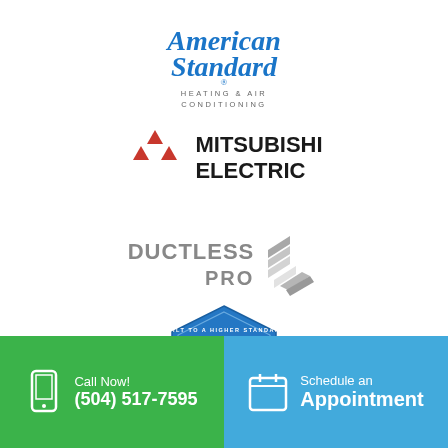[Figure (logo): American Standard Heating & Air Conditioning logo in blue script]
[Figure (logo): Mitsubishi Electric logo with red three-diamond icon]
[Figure (logo): Ductless Pro logo with grey diamond/chevron graphic]
[Figure (logo): American Standard Customer badge - blue pentagon shape with 'Built to a Higher Standard' and 'American Standard Customer' text]
Call Now! (504) 517-7595
Schedule an Appointment